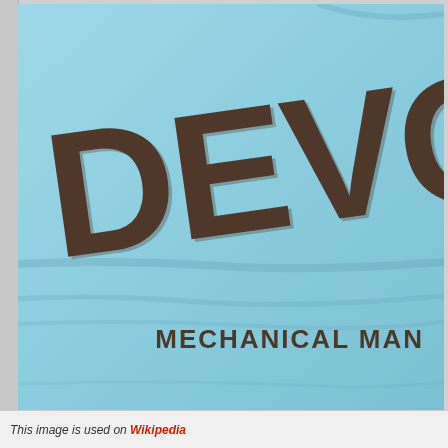[Figure (photo): Light blue crumpled fabric/sleeve with large stamped dark brown text reading 'DEVO' rotated slightly counterclockwise in large bold letters, and 'MECHANICAL MAN' in smaller bold letters at the lower right. This appears to be a record sleeve or t-shirt for the Devo single 'Mechanical Man'.]
This image is used on Wikipedia